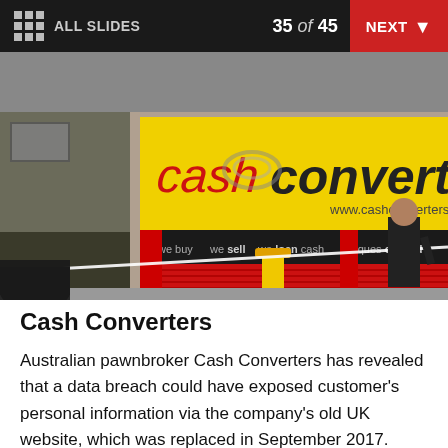ALL SLIDES   35 of 45   NEXT
[Figure (photo): Photograph of a Cash Converters store exterior with yellow signage, red shutters, and police tape across the entrance. A person in black stands near the doorway.]
Cash Converters
Australian pawnbroker Cash Converters has revealed that a data breach could have exposed customer's personal information via the company's old UK website, which was replaced in September 2017.